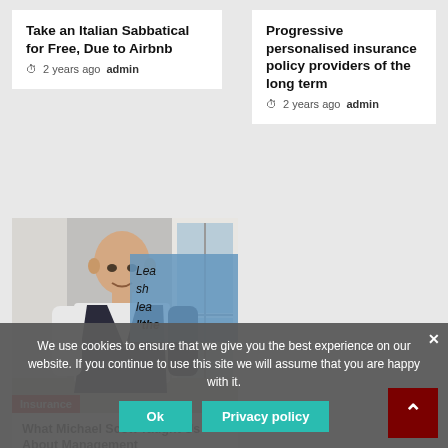Take an Italian Sabbatical for Free, Due to Airbnb
2 years ago  admin
Progressive personalised insurance policy providers of the long term
2 years ago  admin
[Figure (photo): A bald man in a dark vest over white shirt standing near a window. A blue overlay box shows partial text 'Le... sh... lea... "the'. An 'Insurance' red badge at bottom left.]
What Michael Scott Taught Us About Management
2 years ago  admin
We use cookies to ensure that we give you the best experience on our website. If you continue to use this site we will assume that you are happy with it.